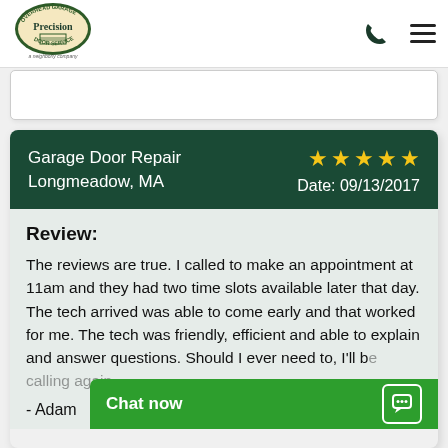Precision Door Service — a Neighborly company
[Figure (logo): Precision Door Service circular logo with overhead garage illustration, 'a Neighborly company' text below]
Garage Door Repair Longmeadow, MA — ★★★★★ — Date: 09/13/2017
Review:
The reviews are true. I called to make an appointment at 11am and they had two time slots available later that day. The tech arrived was able to come early and that worked for me. The tech was friendly, efficient and able to explain and answer questions. Should I ever need to, I'll b...
- Adam